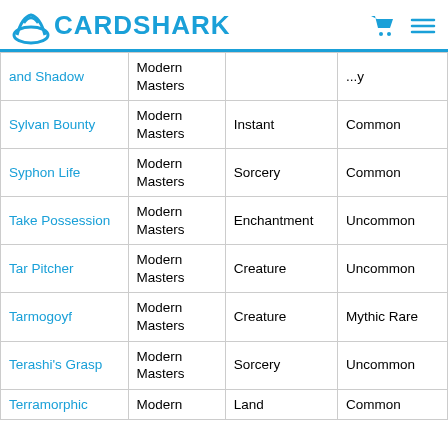CARDSHARK
| Card Name | Set | Type | Rarity |
| --- | --- | --- | --- |
| ...and Shadow | Modern Masters |  | ...y |
| Sylvan Bounty | Modern Masters | Instant | Common |
| Syphon Life | Modern Masters | Sorcery | Common |
| Take Possession | Modern Masters | Enchantment | Uncommon |
| Tar Pitcher | Modern Masters | Creature | Uncommon |
| Tarmogoyf | Modern Masters | Creature | Mythic Rare |
| Terashi's Grasp | Modern Masters | Sorcery | Uncommon |
| Terramorphic | Modern | Land | Common |